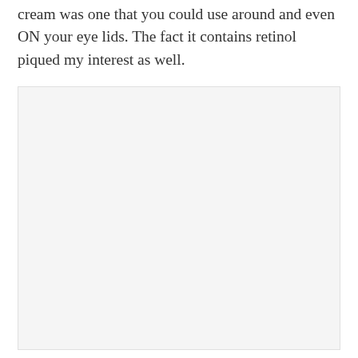cream was one that you could use around and even ON your eye lids. The fact it contains retinol piqued my interest as well.
[Figure (photo): A light gray rectangular placeholder image occupying the lower portion of the page.]